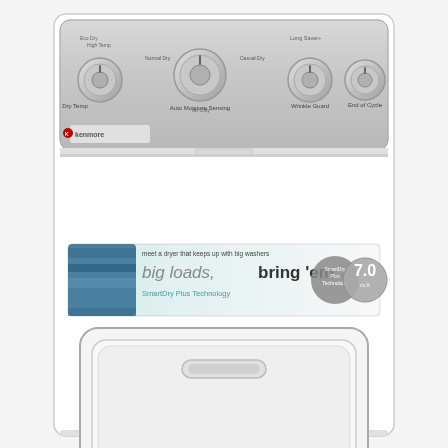[Figure (photo): A white Kenmore front-loading dryer with a silver control panel at the top featuring four knobs labeled Dry Temp, Auto Moisture Sensing, Wrinkle Guard, and End of Cycle. The front of the dryer door has a large promotional sticker reading 'meet a dryer that keeps up with big washers — big loads, bring 'em.' with SmartDry Plus Technology branding and a 7.0 cu ft capacity badge. The dryer door is large and rectangular with rounded corners and a horizontal handle in the center.]